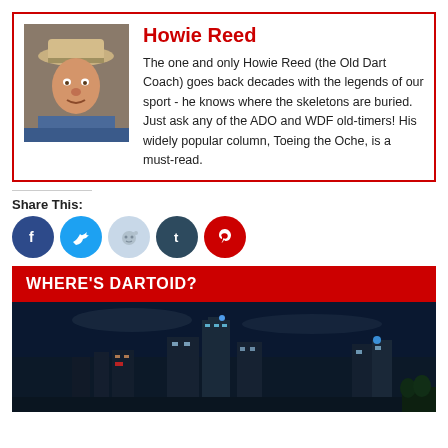[Figure (photo): Author bio card with Howie Reed photo and text. Red border box with portrait photo on left and name + bio text on right.]
Howie Reed
The one and only Howie Reed (the Old Dart Coach) goes back decades with the legends of our sport - he knows where the skeletons are buried. Just ask any of the ADO and WDF old-timers! His widely popular column, Toeing the Oche, is a must-read.
Share This:
[Figure (infographic): Social media share icons: Facebook (dark blue), Twitter (light blue), Reddit (light gray-blue), Tumblr (dark blue-gray), Pinterest (red)]
WHERE'S DARTOID?
[Figure (photo): Night cityscape photo showing illuminated skyscrapers against dark blue night sky, city lights reflected.]